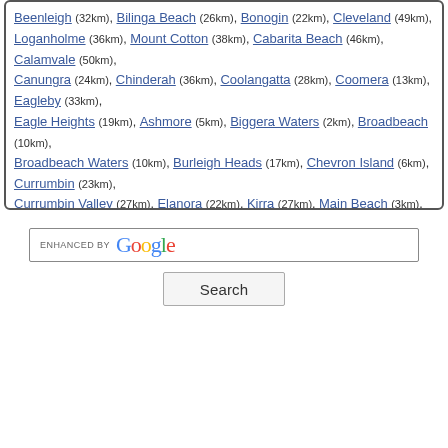Beenleigh (32km), Bilinga Beach (26km), Bonogin (22km), Cleveland (49km), Loganholme (36km), Mount Cotton (38km), Cabarita Beach (46km), Calamvale (50km), Canungra (24km), Chinderah (36km), Coolangatta (28km), Coomera (13km), Eagleby (33km), Eagle Heights (19km), Ashmore (5km), Biggera Waters (2km), Broadbeach (10km), Broadbeach Waters (10km), Burleigh Heads (17km), Chevron Island (6km), Currumbin (23km), Currumbin Valley (27km), Elanora (22km), Kirra (27km), Main Beach (3km), ...
[Figure (other): Enhanced by Google search bar with a Search button below it]